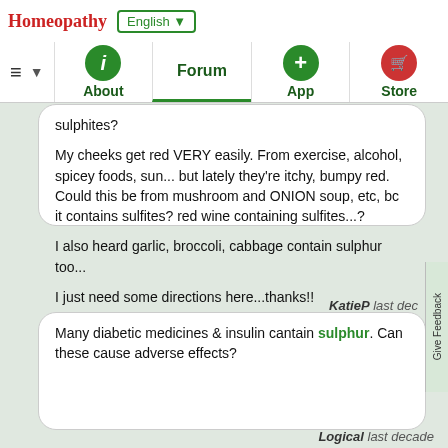Homeopathy | English ▼
sulphites?

My cheeks get red VERY easily. From exercise, alcohol, spicey foods, sun... but lately they're itchy, bumpy red. Could this be from mushroom and ONION soup, etc, bc it contains sulfites? red wine containing sulfites...?

I also heard garlic, broccoli, cabbage contain sulphur too...

I just need some directions here...thanks!!
KatieP last dec
Many diabetic medicines & insulin cantain sulphur. Can these cause adverse effects?
Logical last decade